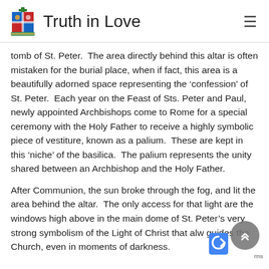Truth in Love
tomb of St. Peter. The area directly behind this altar is often mistaken for the burial place, when if fact, this area is a beautifully adorned space representing the ‘confession’ of St. Peter. Each year on the Feast of Sts. Peter and Paul, newly appointed Archbishops come to Rome for a special ceremony with the Holy Father to receive a highly symbolic piece of vestiture, known as a palium. These are kept in this ‘niche’ of the basilica. The palium represents the unity shared between an Archbishop and the Holy Father.
After Communion, the sun broke through the fog, and lit the area behind the altar. The only access for that light are the windows high above in the main dome of St. Peter’s very strong symbolism of the Light of Christ that alw guides the Church, even in moments of darkness.